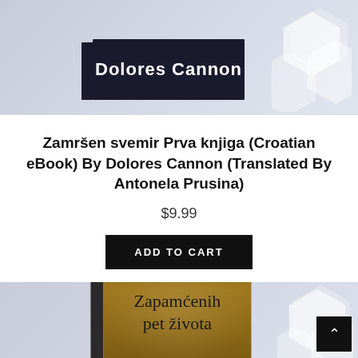[Figure (photo): Book cover of 'Zamrsen svemir Prva knjiga' by Dolores Cannon on a light grey background with hexagon decorative elements]
Zamršen svemir Prva knjiga (Croatian eBook) By Dolores Cannon (Translated By Antonela Prusina)
$9.99
ADD TO CART
[Figure (photo): Book cover of 'Zapamćenih pet života' on a light grey background with hexagon decorative elements]